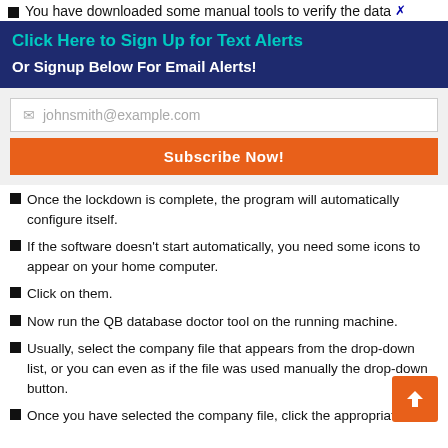You have downloaded some manual tools to verify the data
Click Here to Sign Up for Text Alerts
Or Signup Below For Email Alerts!
johnsmith@example.com
Subscribe Now!
Once the lockdown is complete, the program will automatically configure itself.
If the software doesn't start automatically, you need some icons to appear on your home computer.
Click on them.
Now run the QB database doctor tool on the running machine.
Usually, select the company file that appears from the drop-down list, or you can even as if the file was used manually the drop-down button.
Once you have selected the company file, click the appropriate